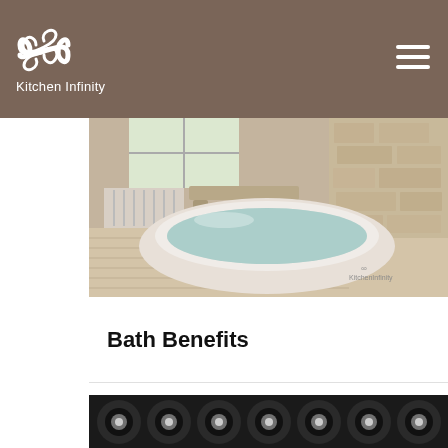Kitchen Infinity
[Figure (photo): A modern freestanding white oval bathtub filled with water, set in a rustic bathroom with stone walls, wooden floor, and a bench in the background. Kitchen Infinity watermark visible.]
Bath Benefits
[Figure (photo): Close-up of multiple black cylindrical pipes or tubes with metallic fittings, viewed from above.]